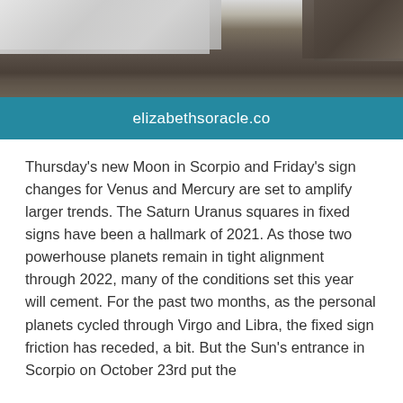[Figure (photo): Header image showing a rocky/watery landscape with gray and brown tones, partially covered by a white overlay on the left side and a teal/blue banner below with the website URL.]
elizabethsoracle.co
Thursday's new Moon in Scorpio and Friday's sign changes for Venus and Mercury are set to amplify larger trends. The Saturn Uranus squares in fixed signs have been a hallmark of 2021. As those two powerhouse planets remain in tight alignment through 2022, many of the conditions set this year will cement. For the past two months, as the personal planets cycled through Virgo and Libra, the fixed sign friction has receded, a bit. But the Sun's entrance in Scorpio on October 23rd put the